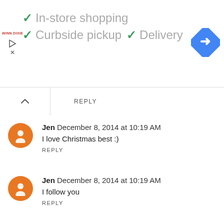[Figure (screenshot): Ad banner showing Winn Dixie store with checkmarks for In-store shopping, Curbside pickup, and Delivery, with a Google Maps navigation icon]
REPLY
Jen  December 8, 2014 at 10:19 AM
I love Christmas best :)
REPLY
Jen  December 8, 2014 at 10:19 AM
I follow you
REPLY
Diane  December 8, 2014 at 10:20 AM
I like Memorial day best because we have a BBQ for both sides of our family. Plus its my birthday weekend. Party time! Thanks